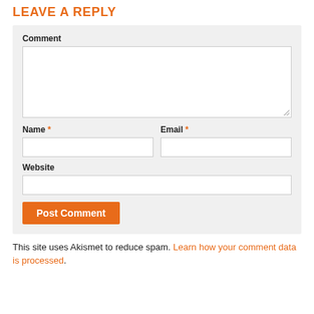LEAVE A REPLY
Comment
Name * Email *
Website
Post Comment
This site uses Akismet to reduce spam. Learn how your comment data is processed.